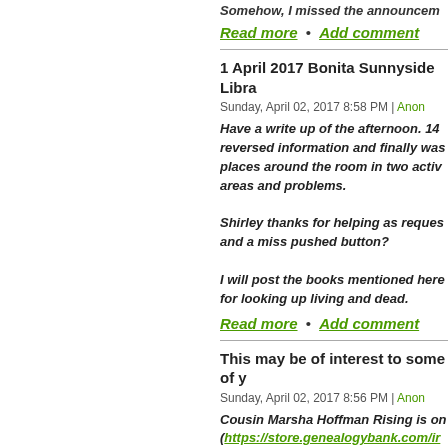Somehow, I missed the announcem
Read more  •  Add comment
1 April 2017 Bonita Sunnyside Libra
Sunday, April 02, 2017 8:58 PM | Anon
Have a write up of the afternoon. 14 reversed information and finally was places around the room in two activ areas and problems.

Shirley thanks for helping as reques and a miss pushed button?

I will post the books mentioned here for looking up living and dead.
Read more  •  Add comment
This may be of interest to some of y
Sunday, April 02, 2017 8:56 PM | Anon
Cousin Marsha Hoffman Rising is on (https://store.genealogybank.com/ir